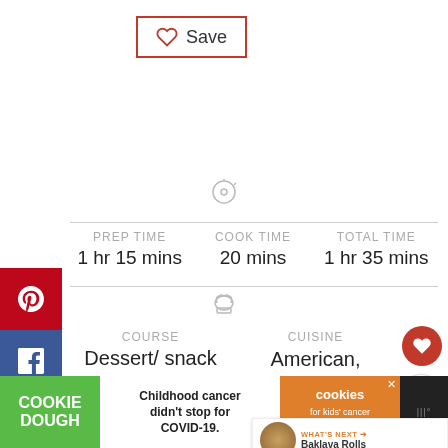[Figure (screenshot): Save button with heart icon, red border]
[Figure (infographic): Social sharing sidebar with Pinterest, Facebook, Yummly, Twitter, Email buttons]
PREP TIME
1 hr 15 mins
COOK TIME
20 mins
TOTAL TIME
1 hr 35 mins
COURSE
Dessert/ snack
CUISINE
American, European, Middle-Eastern
[Figure (infographic): What's Next popup showing Baklava Rolls]
[Figure (infographic): Ad banner: Cookie Dough - Childhood cancer didn't stop for COVID-19. GET BAKING]